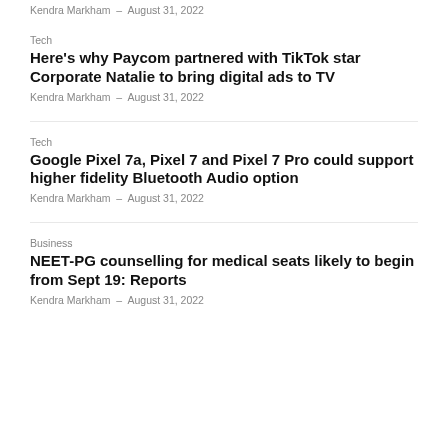Kendra Markham – August 31, 2022
Tech
Here's why Paycom partnered with TikTok star Corporate Natalie to bring digital ads to TV
Kendra Markham – August 31, 2022
Tech
Google Pixel 7a, Pixel 7 and Pixel 7 Pro could support higher fidelity Bluetooth Audio option
Kendra Markham – August 31, 2022
Business
NEET-PG counselling for medical seats likely to begin from Sept 19: Reports
Kendra Markham – August 31, 2022